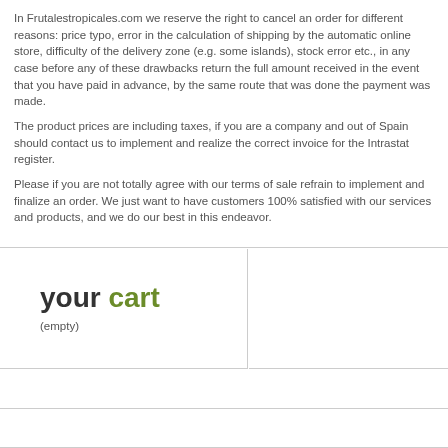In Frutalestropicales.com we reserve the right to cancel an order for different reasons: price typo, error in the calculation of shipping by the automatic online store, difficulty of the delivery zone (e.g. some islands), stock error etc., in any case before any of these drawbacks return the full amount received in the event that you have paid in advance, by the same route that was done the payment was made. The product prices are including taxes, if you are a company and out of Spain should contact us to implement and realize the correct invoice for the Intrastat register. Please if you are not totally agree with our terms of sale refrain to implement and finalize an order. We just want to have customers 100% satisfied with our services and products, and we do our best in this endeavor.
your cart
(empty)